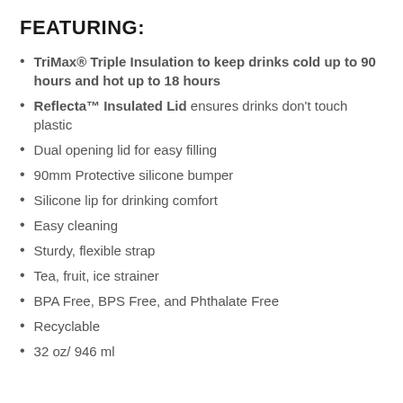FEATURING:
TriMax® Triple Insulation to keep drinks cold up to 90 hours and hot up to 18 hours
Reflecta™ Insulated Lid ensures drinks don't touch plastic
Dual opening lid for easy filling
90mm Protective silicone bumper
Silicone lip for drinking comfort
Easy cleaning
Sturdy, flexible strap
Tea, fruit, ice strainer
BPA Free, BPS Free, and Phthalate Free
Recyclable
32 oz/ 946 ml